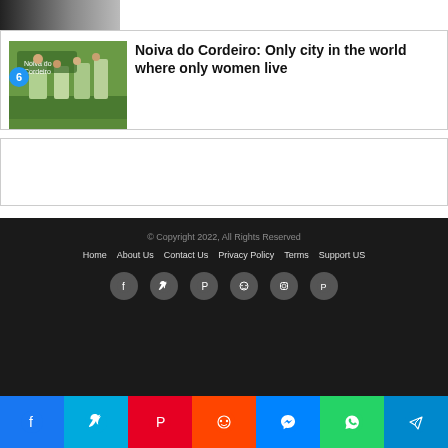[Figure (photo): Thumbnail strip of people at top of article list]
6 Noiva do Cordeiro: Only city in the world where only women live
[Figure (photo): Group of women standing at entrance of Noiva do Cordeiro town]
[Figure (other): Advertisement box, empty/white]
© Copyright 2022, All Rights Reserved
Home  About Us  Contact Us  Privacy Policy  Terms  Support US
[Figure (infographic): Social media icon row: Facebook, Twitter, Pinterest, Reddit, Instagram, PayPal]
[Figure (infographic): Share bar: Facebook (blue), Twitter (light blue), Pinterest (red), Reddit (orange), Messenger (blue), WhatsApp (green), Telegram (blue)]